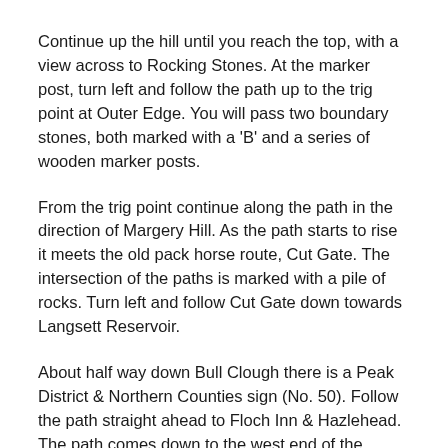Continue up the hill until you reach the top, with a view across to Rocking Stones. At the marker post, turn left and follow the path up to the trig point at Outer Edge. You will pass two boundary stones, both marked with a 'B' and a series of wooden marker posts.
From the trig point continue along the path in the direction of Margery Hill. As the path starts to rise it meets the old pack horse route, Cut Gate. The intersection of the paths is marked with a pile of rocks. Turn left and follow Cut Gate down towards Langsett Reservoir.
About half way down Bull Clough there is a Peak District & Northern Counties sign (No. 50). Follow the path straight ahead to Floch Inn & Hazlehead. The path comes down to the west end of the reservoir which you cross on the bridge over the Little Don river then continue up into the woods and along the main path back to Brook House lane and across the A616 to the parking.